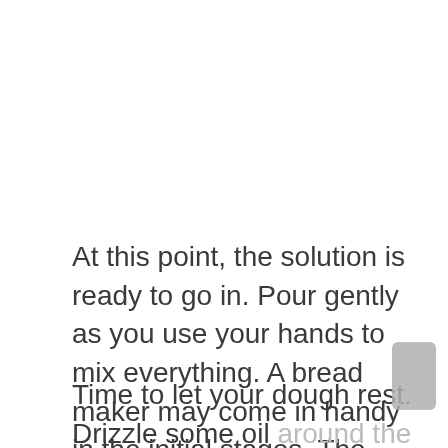At this point, the solution is ready to go in. Pour gently as you use your hands to mix everything. A bread maker may come in handy in the initial stages. The goal is to keep kneading until your dough is soft and smooth so this could last anything between 5-10 minutes.
Time to let your dough rest. Drizzle some oil around the edges of a clean bowl and transfer the dough here. Leave it for around one hour for the yeast to work its magic.